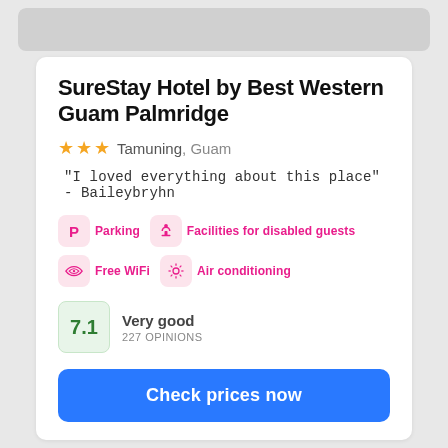[Figure (photo): Gray placeholder image strip at top of page]
SureStay Hotel by Best Western Guam Palmridge
★★★ Tamuning, Guam
"I loved everything about this place" - Baileybryhn
Parking
Facilities for disabled guests
Free WiFi
Air conditioning
7.1 Very good 227 OPINIONS
Check prices now
[Figure (photo): Gray placeholder image strip at bottom of page]